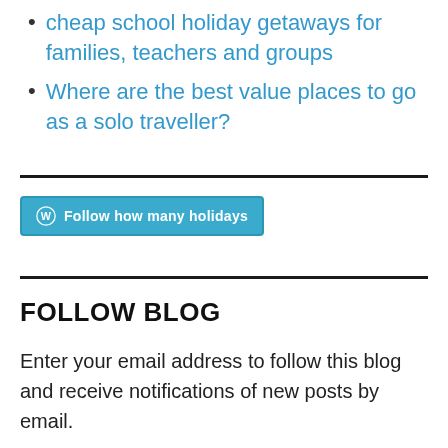cheap school holiday getaways for families, teachers and groups
Where are the best value places to go as a solo traveller?
[Figure (other): WordPress Follow button: 'Follow how many holidays']
FOLLOW BLOG
Enter your email address to follow this blog and receive notifications of new posts by email.